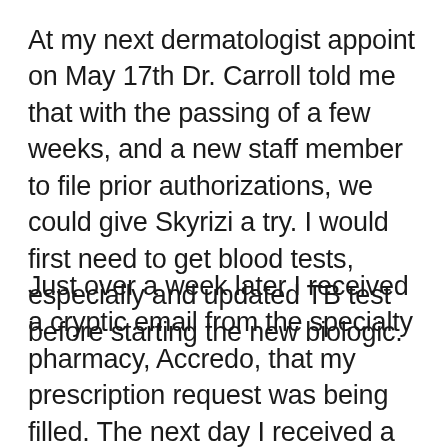At my next dermatologist appoint on May 17th Dr. Carroll told me that with the passing of a few weeks, and a new staff member to file prior authorizations, we could give Skyrizi a try. I would first need to get blood tests, especially and updated TB test before starting the new biologic.
Just over a week later I received a cryptic email from the specialty pharmacy, Accredo, that my prescription request was being filled. The next day I received a letter from my insurance provider stating they approved the prior